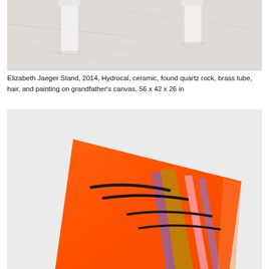[Figure (photo): Photograph of a white sculptural stand on a white marble-like floor, showing the legs and base of a pedestal or table form against a pale, veined surface.]
Elizabeth Jaeger Stand, 2014, Hydrocal, ceramic, found quartz rock, brass tube, hair, and painting on grandfather's canvas, 56 x 42 x 26 in
[Figure (photo): Photograph of a bright orange textile or fabric artwork with black brushstroke-like marks and vertical stripes of gold, pink, and purple, hanging or draped against a light grey background.]